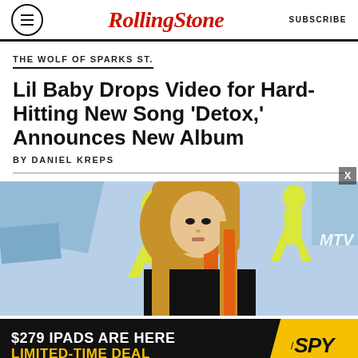Rolling Stone | SUBSCRIBE
THE WOLF OF SPARKS ST.
Lil Baby Drops Video for Hard-Hitting New Song ‘Detox,’ Announces New Album
BY DANIEL KREPS
[Figure (photo): Photo of a blonde woman (Avril Lavigne) at what appears to be an MTV event, with blue and yellow silhouette decorations in the background]
[Figure (infographic): Advertisement banner: $279 IPADS ARE HERE LIMITED-TIME DEAL / SPY logo]